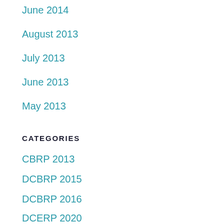June 2014
August 2013
July 2013
June 2013
May 2013
CATEGORIES
CBRP 2013
DCBRP 2015
DCBRP 2016
DCERP 2020
DCERP 2021
DCERP 2022